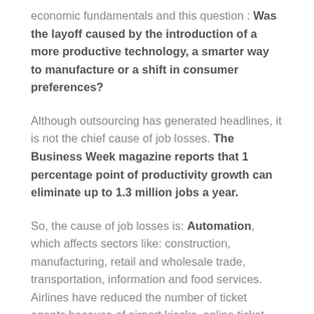economic fundamentals and this question : Was the layoff caused by the introduction of a more productive technology, a smarter way to manufacture or a shift in consumer preferences?
Although outsourcing has generated headlines, it is not the chief cause of job losses. The Business Week magazine reports that 1 percentage point of productivity growth can eliminate up to 1.3 million jobs a year.
So, the cause of job losses is: Automation, which affects sectors like: construction, manufacturing, retail and wholesale trade, transportation, information and food services. Airlines have reduced the number of ticket agents because of airport kiosks, online ticket purchases and online check-in. Grocery store clerks are on the decline with